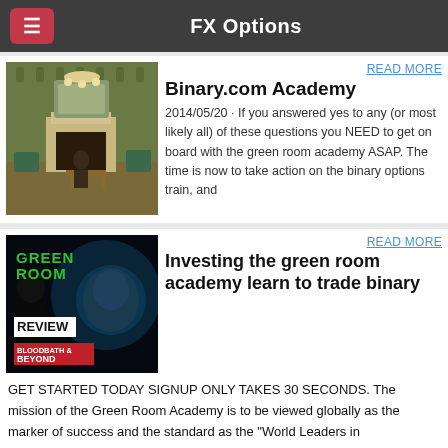FX Options
READ MORE
Binary.com Academy
2014/05/20 · If you answered yes to any (or most likely all) of these questions you NEED to get on board with the green room academy ASAP. The time is now to take action on the binary options train, and
[Figure (photo): Interior of an ornate Victorian room with a fireplace, mirror, chandelier, and green furniture]
READ MORE
Investing the green room academy learn to trade binary
[Figure (photo): Green Room Review - Bloodbath & Beyond movie poster/thumbnail with dark background and hooded figure]
GET STARTED TODAY SIGNUP ONLY TAKES 30 SECONDS. The mission of the Green Room Academy is to be viewed globally as the marker of success and the standard as the "World Leaders in